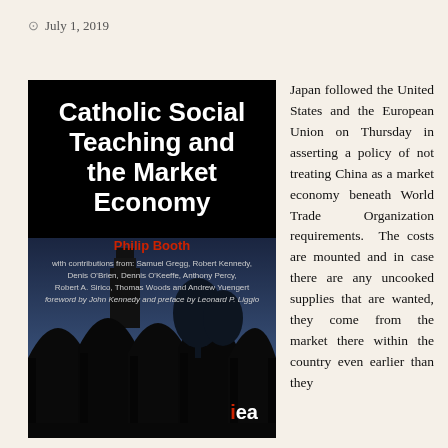July 1, 2019
[Figure (photo): Book cover of 'Catholic Social Teaching and the Market Economy' by Philip Booth, with contributions from Samuel Gregg, Robert Kennedy, Denis O'Brien, Dennis O'Keeffe, Anthony Percy, Robert A. Sirico, Thomas Woods and Andrew Yuengert. Foreword by John Kennedy and preface by Leonard P. Liggio. Published by iea. Cover shows a blue-toned architectural photograph of arched colonnade with a church tower. Black background with white bold title text.]
Japan followed the United States and the European Union on Thursday in asserting a policy of not treating China as a market economy beneath World Trade Organization requirements. The costs are mounted and in case there are any uncooked supplies that are wanted, they come from the market there within the country even earlier than they